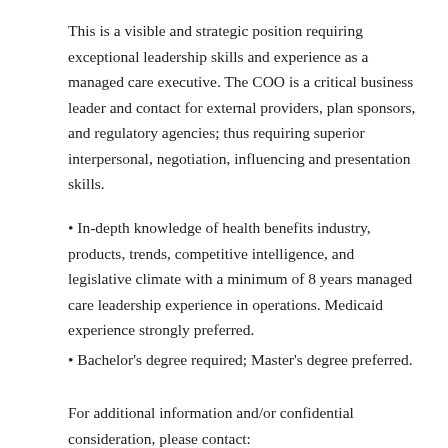This is a visible and strategic position requiring exceptional leadership skills and experience as a managed care executive. The COO is a critical business leader and contact for external providers, plan sponsors, and regulatory agencies; thus requiring superior interpersonal, negotiation, influencing and presentation skills.
• In-depth knowledge of health benefits industry, products, trends, competitive intelligence, and legislative climate with a minimum of 8 years managed care leadership experience in operations. Medicaid experience strongly preferred.
• Bachelor's degree required; Master's degree preferred.
For additional information and/or confidential consideration, please contact:
CONSULTANT: Tricia French, RN, BSN
President & CEO